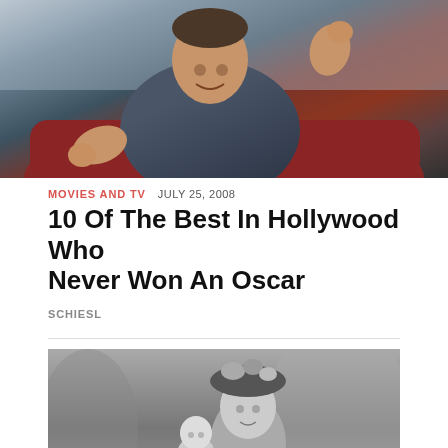[Figure (photo): Color photo of a middle-aged man in a dark blue shirt sitting on a red couch, gesturing with both hands raised, appearing to be speaking animatedly]
MOVIES AND TV   JULY 25, 2008
10 Of The Best In Hollywood Who Never Won An Oscar
SCHIESL
[Figure (photo): Black and white photo of a woman wearing a decorative hat with flowers, holding a small child or baby]